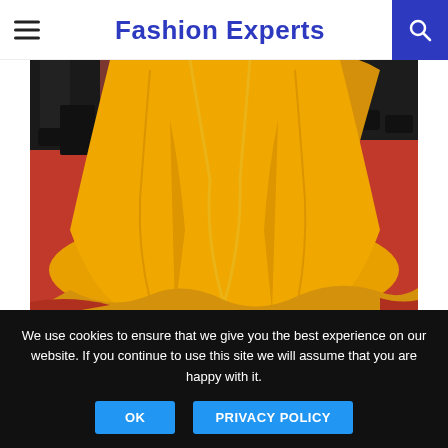Fashion Experts
[Figure (photo): Close-up of a flowing bright yellow/gold ballgown skirt on a red carpet, with feet in dark shoes visible in the background among other attendees.]
Photo: Getty
Wearing a Pre-Fall/Winter McQueen design, actress Viola Davis
We use cookies to ensure that we give you the best experience on our website. If you continue to use this site we will assume that you are happy with it.